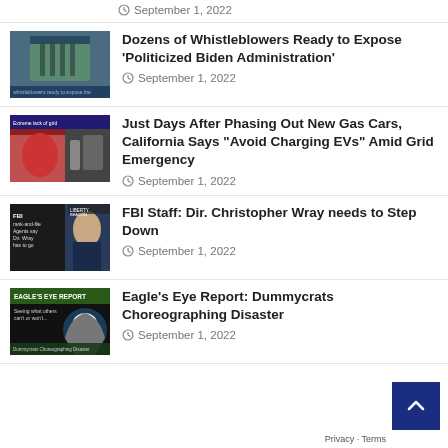September 1, 2022
[Figure (photo): Building exterior – whistleblowers article thumbnail]
Dozens of Whistleblowers Ready to Expose 'Politicized Biden Administration'
September 1, 2022
[Figure (photo): Electric vehicle charging – California grid emergency article thumbnail]
Just Days After Phasing Out New Gas Cars, California Says "Avoid Charging EVs" Amid Grid Emergency
September 1, 2022
[Figure (photo): FBI Staff Christopher Wray article thumbnail]
FBI Staff: Dir. Christopher Wray needs to Step Down
September 1, 2022
[Figure (photo): Eagle's Eye Report – Dummycrats Choreographing Disaster thumbnail]
Eagle's Eye Report: Dummycrats Choreographing Disaster
September 1, 2022